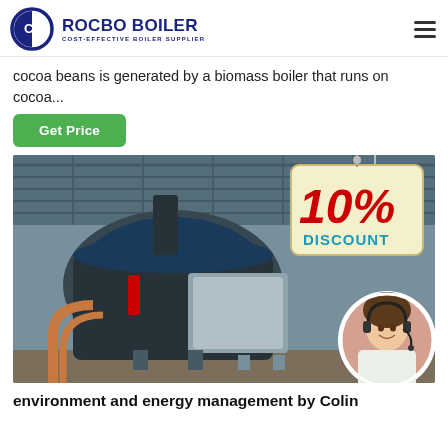ROCBO BOILER — COST-EFFECTIVE BOILER SUPPLIER
cocoa beans is generated by a biomass boiler that runs on cocoa...
Get Price
[Figure (photo): Industrial boiler in a warehouse/factory setting with a 10% discount badge overlay and a customer service agent photo in a circle in the lower right corner.]
environment and energy management by Colin